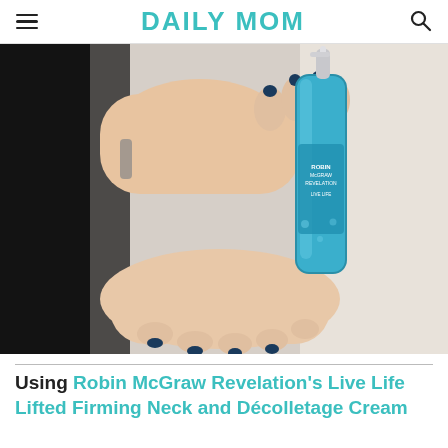DAILY MOM
[Figure (photo): Close-up of two hands holding a blue Robin McGraw Revelation skincare pump bottle against a light background. The person is wearing dark nail polish and a dark jacket with a bracelet.]
Using Robin McGraw Revelation's Live Life Lifted Firming Neck and Décolletage Cream